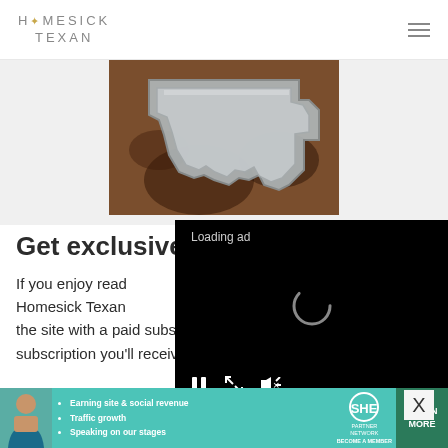HOMESICK TEXAN
[Figure (photo): Photo of a Texas-shaped metal cookie cutter or pan on a wooden surface]
[Figure (screenshot): Video ad overlay showing 'Loading ad' text with spinner and playback controls (pause, expand, mute)]
Get exclusive
If you enjoy read Homesick Texan the site with a paid subscription. With your subscription you'll receive access to
[Figure (advertisement): Banner ad for SHE Partner Network with bullets: Earning site & social revenue, Traffic growth, Speaking on our stages. Includes LEARN MORE button.]
X